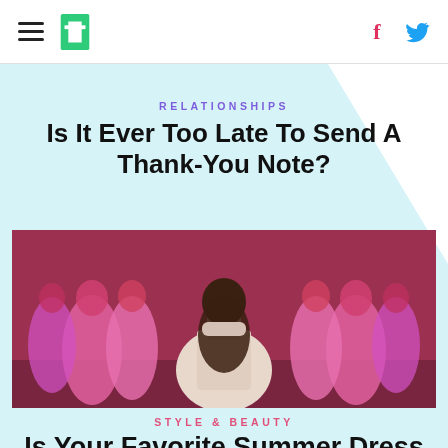HuffPost navigation with hamburger menu, logo, Facebook and Twitter icons
RELATIONSHIPS
Is It Ever Too Late To Send A Thank-You Note?
[Figure (photo): A woman in a white maxi dress seen from behind, surrounded by multiple pink-toned mirror reflections of herself with red hair, set against a reddish-purple background outdoors]
STYLE & BEAUTY
Is Your Favorite Summer Dress